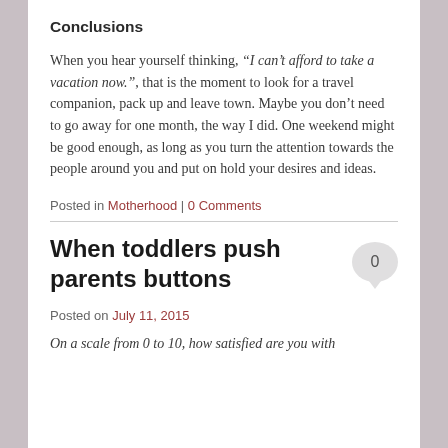Conclusions
When you hear yourself thinking, “I can’t afford to take a vacation now.”, that is the moment to look for a travel companion, pack up and leave town. Maybe you don’t need to go away for one month, the way I did. One weekend might be good enough, as long as you turn the attention towards the people around you and put on hold your desires and ideas.
Posted in Motherhood | 0 Comments
When toddlers push parents buttons
Posted on July 11, 2015
On a scale from 0 to 10, how satisfied are you with